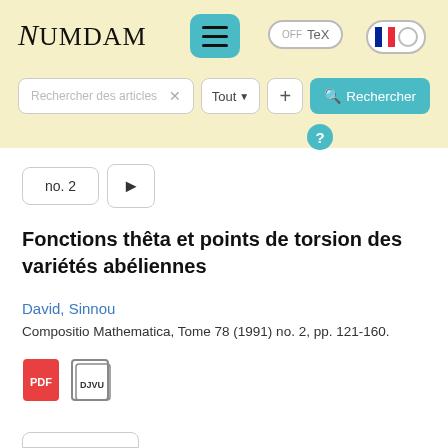[Figure (screenshot): Numdam website header with logo, hamburger menu button, TeX toggle, and language toggle]
[Figure (screenshot): Search bar with 'Rechercher des articles' placeholder, Tout dropdown, plus button, and Rechercher search button with question mark icon]
[Figure (screenshot): Navigation buttons: 'no. 2' and right arrow]
Fonctions thêta et points de torsion des variétés abéliennes
David, Sinnou
Compositio Mathematica, Tome 78 (1991) no. 2, pp. 121-160.
[Figure (screenshot): PDF and DJVU file download icons]